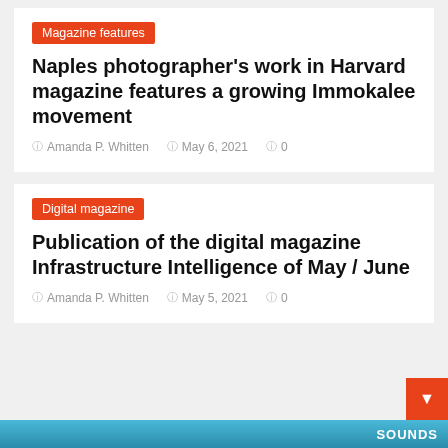Magazine features
Naples photographer's work in Harvard magazine features a growing Immokalee movement
Amanda P. Whitten   May 6, 2021   0
Digital magazine
Publication of the digital magazine Infrastructure Intelligence of May / June
Amanda P. Whitten   May 5, 2021   0